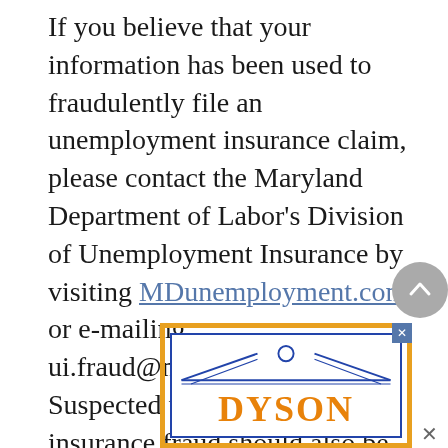If you believe that your information has been used to fraudulently file an unemployment insurance claim, please contact the Maryland Department of Labor's Division of Unemployment Insurance by visiting MDunemployment.com or e-mailing ui.fraud@maryland.gov. Suspected unemployment insurance fraud should also be reported to the U.S. Department of Labor Office of Inspector General Hotline by visiting the website or calling 1-800-347-3756.
[Figure (other): Partial view of a Dyson advertisement banner with orange and blue border, showing decorative architectural/roofline graphic in blue lines and the beginning of the word DYSON in large orange letters. An X close button appears in the top right corner of the ad.]